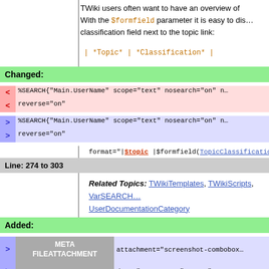TWiki users often want to have an overview of... With the $formfield parameter it is easy to dis... classification field next to the topic link:
| *Topic* | *Classification* |
Changed:
< %SEARCH{"Main.UserName" scope="text" nosearch="on" n...
< reverse="on"
> %SEARCH{"Main.UserName" scope="text" nosearch="on" n...
> reverse="on"
format="|$topic |$formfield(TopicClassification) |" web="Sand...
Line: 274 to 303
Related Topics: TWikiTemplates, TWikiScripts, VarSEARCH... UserDocumentationCategory
Added:
|  | META FILEATTACHMENT | value |
| --- | --- | --- |
| > | META FILEATTACHMENT | attachment="screenshot-combobox... |
| > | META FILEATTACHMENT | date="1356580739" name="screens... |